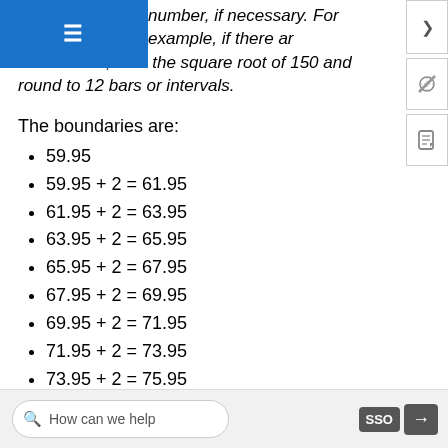number, if necessary. For example, if there are 150 values of data, take the square root of 150 and round to 12 bars or intervals.
The boundaries are:
59.95
59.95 + 2 = 61.95
61.95 + 2 = 63.95
63.95 + 2 = 65.95
65.95 + 2 = 67.95
67.95 + 2 = 69.95
69.95 + 2 = 71.95
71.95 + 2 = 73.95
73.95 + 2 = 75.95